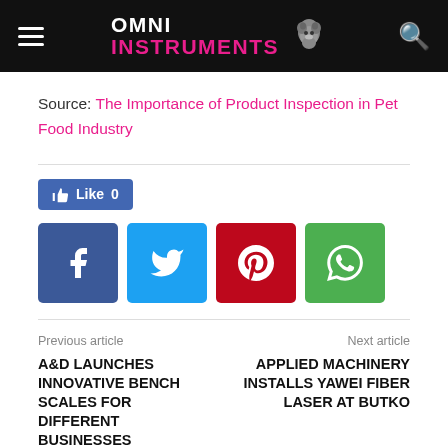OMNI INSTRUMENTS
Source: The Importance of Product Inspection in Pet Food Industry
[Figure (infographic): Social media sharing buttons: Like 0 (Facebook like button), Facebook share, Twitter share, Pinterest share, WhatsApp share icons]
Previous article
A&D LAUNCHES INNOVATIVE BENCH SCALES FOR DIFFERENT BUSINESSES
Next article
APPLIED MACHINERY INSTALLS YAWEI FIBER LASER AT BUTKO